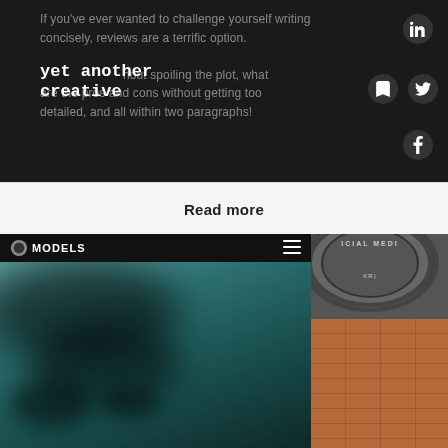If you've ever wanted to challenge yourself writing concisely, reviews are a terrific option. ...hout spoiling the plot, what are the pros and cons without getting too detailed, and all within two paragraphs!
yet another creative
Read more
[Figure (screenshot): Screenshot of a website called MODELS with a dark header bar showing a hamburger menu icon, and a blurry teal/dark background image below]
[Figure (photo): Photo showing a social media medal/award on a brick wall background]